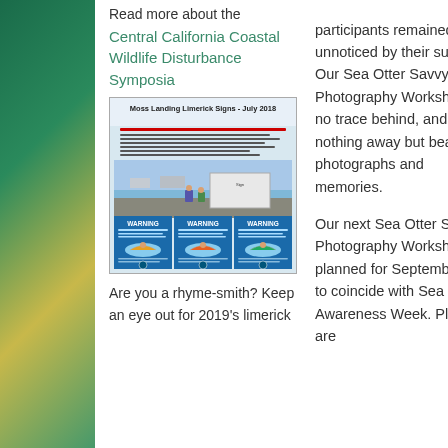Read more about the Central California Coastal Wildlife Disturbance Symposia
[Figure (screenshot): Screenshot of a document titled 'Moss Landing Limerick Signs - July 2018' showing warning signs and kayakers near a harbor, with blue WARNING panels at the bottom.]
Are you a rhyme-smith? Keep an eye out for 2019's limerick
participants remained unnoticed by their subjects. Our Sea Otter Savvy Photography Workshop left no trace behind, and took nothing away but beautiful photographs and memories.
Our next Sea Otter Savvy Photography Workshop is planned for September 30, to coincide with Sea Otter Awareness Week. Places are